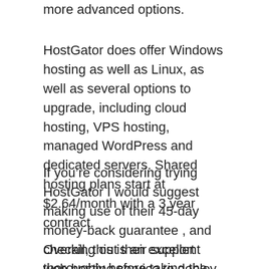more advanced options.
HostGator does offer Windows hosting as well as Linux, as well as several options to upgrade, including cloud hosting, VPS hosting, managed WordPress and dedicated servers. Shared hosting plans start at $2.64/month with a 3 year contract.
If you’re considering trying HostGator I would suggest making use of their 45-day money-back guarantee , and checking out their support thoroughly before taking the plunge.
Overall, this is an excellent web hosting service to deploy quickly and for use as a corporate site, but